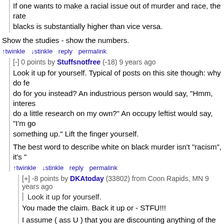If one wants to make a racial issue out of murder and race, the rate blacks is substantially higher than vice versa.
Show the studies - show the numbers.
↑twinkle ↓stinkle reply permalink
[-] 0 points by Stuffsnotfree (-18) 9 years ago
Look it up for yourself. Typical of posts on this site though: why do fe do for you instead? An industrious person would say, "Hmm, interes do a little research on my own?" An occupy leftist would say, "I'm go something up." Lift the finger yourself.
The best word to describe white on black murder isn't "racism", it's "
↑twinkle ↓stinkle reply permalink
[+] -8 points by DKAtoday (33802) from Coon Rapids, MN 9 years ago
Look it up for yourself.
You made the claim. Back it up or - STFU!!!
I assume ( ass U ) that you are discounting anything of the southe
↑twinkle ↓stinkle reply permalink
[-] -2 points by JeffSoke (8) from Houston, TX 9 years ago
You must be a real hoot at parties!
You're probably working on a stroke.
http://www.fbi.gov/about-us/cjis/ucr/crime-in-the-u.s/2011/crime- enforcement/expanded/expanded-homicide-data
↑twinkle ↓stinkle reply permalink